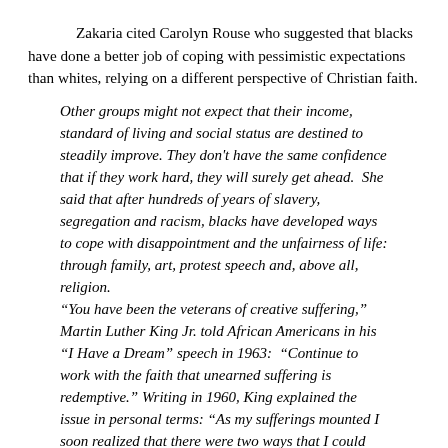Zakaria cited Carolyn Rouse who suggested that blacks have done a better job of coping with pessimistic expectations than whites, relying on a different perspective of Christian faith.
Other groups might not expect that their income, standard of living and social status are destined to steadily improve. They don't have the same confidence that if they work hard, they will surely get ahead.  She said that after hundreds of years of slavery, segregation and racism, blacks have developed ways to cope with disappointment and the unfairness of life: through family, art, protest speech and, above all, religion.
"You have been the veterans of creative suffering," Martin Luther King Jr. told African Americans in his "I Have a Dream" speech in 1963:  "Continue to work with the faith that unearned suffering is redemptive." Writing in 1960, King explained the issue in personal terms: "As my sufferings mounted I soon realized that there were two ways that I could respond to my situation: either to react with bitterness or seek to transform the suffering into a